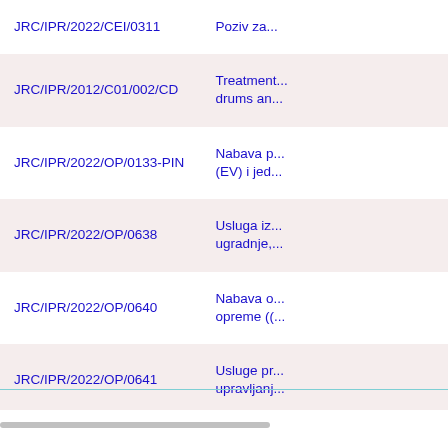| Reference | Description |
| --- | --- |
| JRC/IPR/2022/CEI/0311 | Poziv za... |
| JRC/IPR/2012/C01/002/CD | Treatment... drums an... |
| JRC/IPR/2022/OP/0133-PIN | Nabava p... (EV) i jed... |
| JRC/IPR/2022/OP/0638 | Usluga iz... ugradnje,... |
| JRC/IPR/2022/OP/0640 | Nabava o... opreme ((... |
| JRC/IPR/2022/OP/0641 | Usluge pr... upravljanj... |